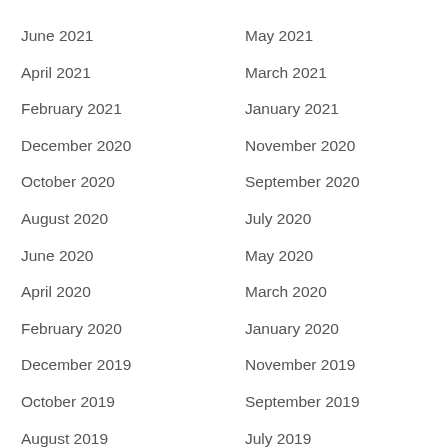June 2021
May 2021
April 2021
March 2021
February 2021
January 2021
December 2020
November 2020
October 2020
September 2020
August 2020
July 2020
June 2020
May 2020
April 2020
March 2020
February 2020
January 2020
December 2019
November 2019
October 2019
September 2019
August 2019
July 2019
June 2019
May 2019
April 2019
March 2019